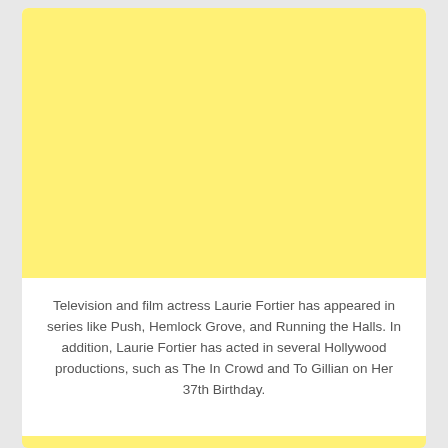[Figure (illustration): A large yellow/pale yellow rectangular placeholder image occupying the top portion of a white card.]
Television and film actress Laurie Fortier has appeared in series like Push, Hemlock Grove, and Running the Halls. In addition, Laurie Fortier has acted in several Hollywood productions, such as The In Crowd and To Gillian on Her 37th Birthday.